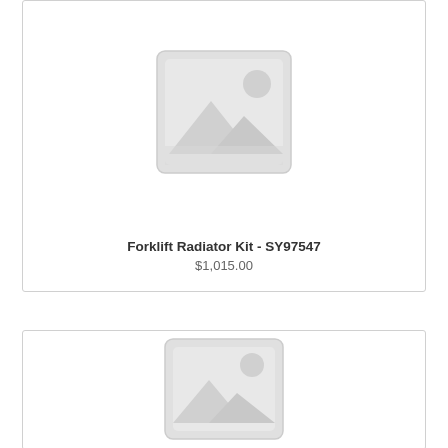[Figure (illustration): Placeholder image icon for product with no photo - gray mountain/landscape icon inside a rounded rectangle frame]
Forklift Radiator Kit - SY97547
$1,015.00
[Figure (illustration): Placeholder image icon for second product with no photo - partial view of gray mountain/landscape icon inside a rounded rectangle frame]